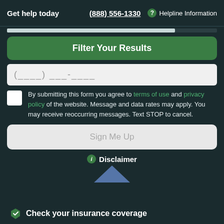Get help today  (888) 556-1330  ? Helpline Information
Filter Your Results
(____)  ___-____
By submitting this form you agree to terms of use and privacy policy of the website. Message and data rates may apply. You may receive reoccurring messages. Text STOP to cancel.
Sign Me Up
Disclaimer
Check your insurance coverage